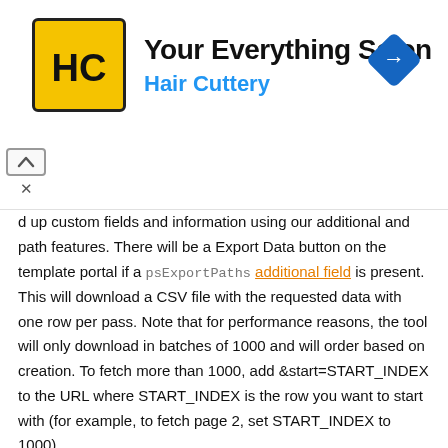[Figure (logo): Hair Cuttery advertisement banner with yellow HC logo, text 'Your Everything Salon' and 'Hair Cuttery', blue diamond navigation icon, and collapse/close controls]
d up custom fields and information using our additional and path features. There will be a Export Data button on the template portal if a psExportPaths additional field is present. This will download a CSV file with the requested data with one row per pass. Note that for performance reasons, the tool will only download in batches of 1000 and will order based on creation. To fetch more than 1000, add &start=START_INDEX to the URL where START_INDEX is the row you want to start with (for example, to fetch page 2, set START_INDEX to 1000).
Whitelabel services
If you have a reseller account, you can specify a logo and color that will be used to brand the entire site. Pages will not include any PassSource branding and ads will be hidden. To see an example, add &clientId=6 to any page to see what it looks like with our demo account branding. If you're interested in setting up a reseller account, please contact us.